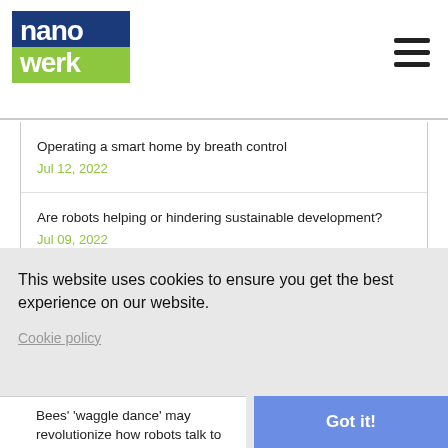nanowerk
Operating a smart home by breath control
Jul 12, 2022
Are robots helping or hindering sustainable development?
Jul 09, 2022
A cooler side to soft robotics (w/video)
Jul 09, 2022
This website uses cookies to ensure you get the best experience on our website.
Cookie policy
Got it!
Bees' 'waggle dance' may revolutionize how robots talk to each